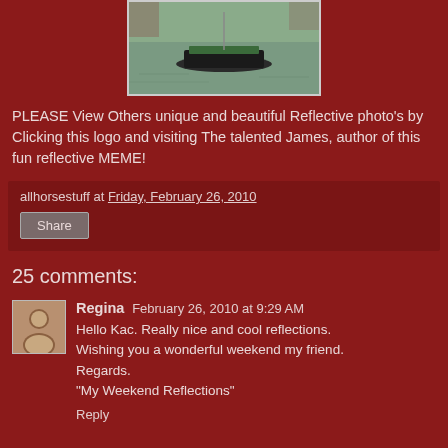[Figure (photo): Photo of a sailboat on water, partially cropped at top]
PLEASE View Others unique and beautiful Reflective photo's by Clicking this logo and visiting The talented James, author of this fun reflective MEME!
allhorsestuff at Friday, February 26, 2010
Share
25 comments:
Regina   February 26, 2010 at 9:29 AM
Hello Kac. Really nice and cool reflections.
Wishing you a wonderful weekend my friend.
Regards.
"My Weekend Reflections"

Reply